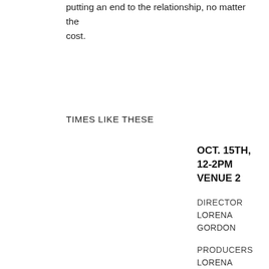putting an end to the relationship, no matter the cost.
TIMES LIKE THESE
OCT. 15TH, 12-2PM
VENUE 2
DIRECTOR
LORENA
GORDON
PRODUCERS
LORENA
GORDON
ALEX
GORDON
JAN MILLER